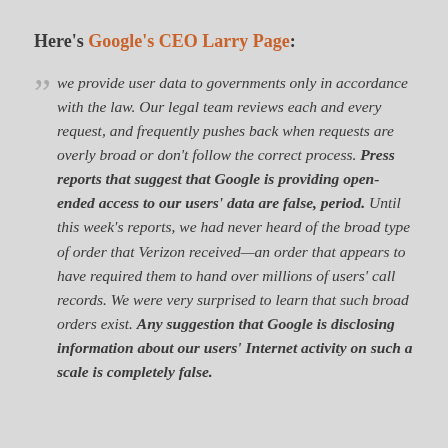Here's Google's CEO Larry Page:
we provide user data to governments only in accordance with the law. Our legal team reviews each and every request, and frequently pushes back when requests are overly broad or don't follow the correct process. Press reports that suggest that Google is providing open-ended access to our users' data are false, period. Until this week's reports, we had never heard of the broad type of order that Verizon received—an order that appears to have required them to hand over millions of users' call records. We were very surprised to learn that such broad orders exist. Any suggestion that Google is disclosing information about our users' Internet activity on such a scale is completely false.